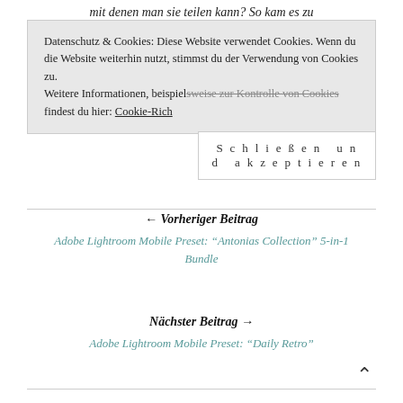mit denen man sie teilen kann? So kam es zu
Datenschutz & Cookies: Diese Website verwendet Cookies. Wenn du die Website weiterhin nutzt, stimmst du der Verwendung von Cookies zu.
Weitere Informationen, beispielsweise zur Kontrolle von Cookies findest du hier: Cookie-Rich
Schließen und akzeptieren
← Vorheriger Beitrag
Adobe Lightroom Mobile Preset: "Antonias Collection" 5-in-1 Bundle
Nächster Beitrag →
Adobe Lightroom Mobile Preset: "Daily Retro"